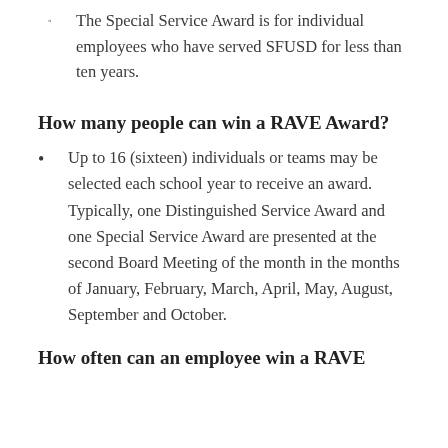The Special Service Award is for individual employees who have served SFUSD for less than ten years.
How many people can win a RAVE Award?
Up to 16 (sixteen) individuals or teams may be selected each school year to receive an award. Typically, one Distinguished Service Award and one Special Service Award are presented at the second Board Meeting of the month in the months of January, February, March, April, May, August, September and October.
How often can an employee win a RAVE